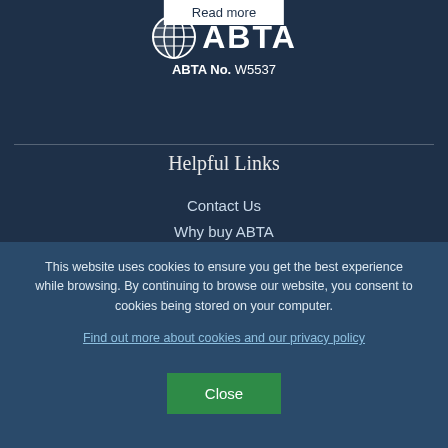[Figure (logo): ABTA logo with circular globe icon and text reading ABTA No. W5537]
Helpful Links
Contact Us
Why buy ABTA
This website uses cookies to ensure you get the best experience while browsing. By continuing to browse our website, you consent to cookies being stored on your computer.
Find out more about cookies and our privacy policy
Close